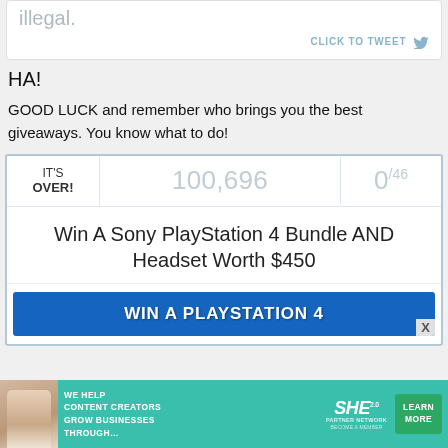[Figure (screenshot): Tweet box showing 'illegal.' text with CLICK TO TWEET button]
HA!
GOOD LUCK and remember who brings you the best giveaways. You know what to do!
[Figure (screenshot): Giveaway widget showing IT'S OVER!, 100,696 entries, 0/46 points, and Win A Sony PlayStation 4 Bundle AND Headset Worth $450 with WIN A PLAYSTATION 4 banner]
[Figure (infographic): SHE Media Partner Network advertisement banner: WE HELP CONTENT CREATORS GROW BUSINESSES THROUGH... LEARN MORE]